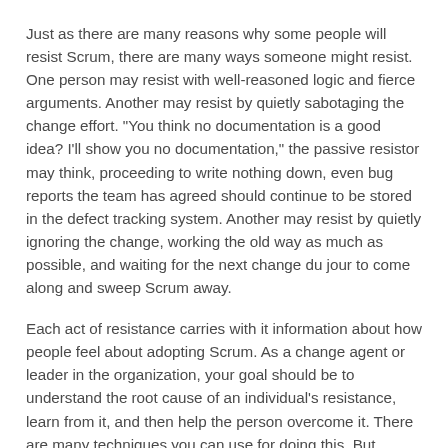Just as there are many reasons why some people will resist Scrum, there are many ways someone might resist. One person may resist with well-reasoned logic and fierce arguments. Another may resist by quietly sabotaging the change effort. "You think no documentation is a good idea? I'll show you no documentation," the passive resistor may think, proceeding to write nothing down, even bug reports the team has agreed should continue to be stored in the defect tracking system. Another may resist by quietly ignoring the change, working the old way as much as possible, and waiting for the next change du jour to come along and sweep Scrum away.
Each act of resistance carries with it information about how people feel about adopting Scrum. As a change agent or leader in the organization, your goal should be to understand the root cause of an individual's resistance, learn from it, and then help the person overcome it. There are many techniques you can use for doing this. But unless the technique is carefully chosen, it is unlikely to have the desired effect. To help select the right technique, I find it